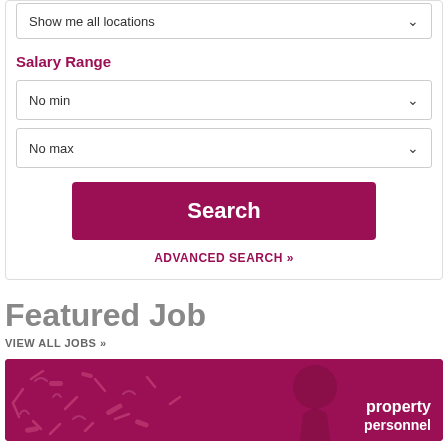Show me all locations
Salary Range
No min
No max
Search
ADVANCED SEARCH »
Featured Job
VIEW ALL JOBS »
[Figure (illustration): Property Personnel branded banner image with magenta/pink background and decorative shapes]